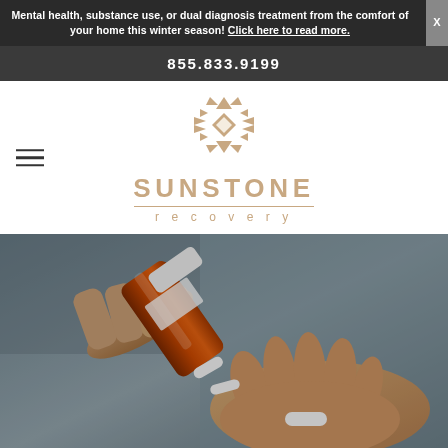Mental health, substance use, or dual diagnosis treatment from the comfort of your home this winter season! Click here to read more.
855.833.9199
[Figure (logo): Sunstone Recovery logo with geometric Native American-style diamond pattern and text SUNSTONE recovery]
[Figure (photo): Close-up photo of a person's hands pouring pills from an orange prescription medication bottle into their open palm]